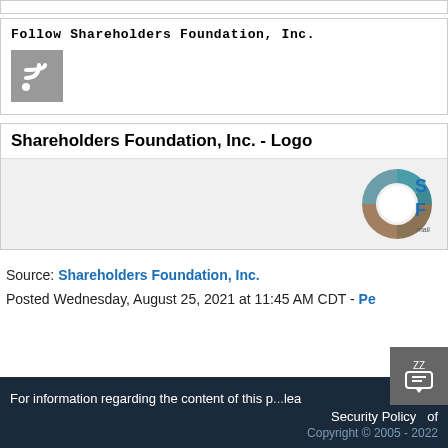Follow Shareholders Foundation, Inc.
[Figure (logo): RSS feed icon - grey square with white RSS symbol]
Shareholders Foundation, Inc. - Logo
[Figure (logo): Shareholders Foundation Inc. logo - circular donut chart in teal and brown colors with letters S and F visible, with text 'mailto' partially visible]
Source: Shareholders Foundation, Inc.
Posted Wednesday, August 25, 2021 at 11:45 AM CDT - Pe
For information regarding the content of this p... lea Security Policy of Copyright © 2005 - 2022